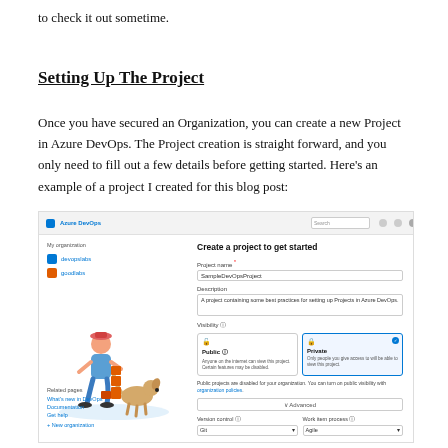to check it out sometime.
Setting Up The Project
Once you have secured an Organization, you can create a new Project in Azure DevOps. The Project creation is straight forward, and you only need to fill out a few details before getting started. Here's an example of a project I created for this blog post:
[Figure (screenshot): Screenshot of Azure DevOps interface showing the left navigation panel with 'My organization' section listing 'devopslabs' and 'goodlabs' organizations, a decorative illustration of a person with a dog, bottom links (What's new in DevOps, Documentation, Get help, New organization), and on the right a 'Create a project to get started' form with Project Name field showing 'SampleDevOpsProject', Description textarea, Visibility options (Public and Private selected with checkmark), a note about public projects being disabled, an Advanced button, and Version control / Work item process dropdowns showing 'Git' and 'Agile'.]